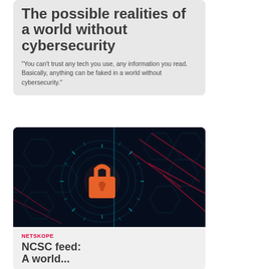The possible realities of a world without cybersecurity
"You can't trust any tech you use, any information you read. Basically, anything can be faked in a world without cybersecurity."
[Figure (photo): Dark cybersecurity themed image showing a glowing orange padlock icon surrounded by circular cyan light rings and red circuit-like lines on a dark navy/black background with hexagonal patterns]
NETSKOPE
NCSC feed: A world...